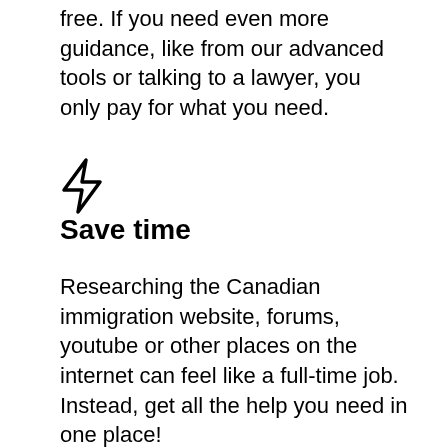free. If you need even more guidance, like from our advanced tools or talking to a lawyer, you only pay for what you need.
[Figure (illustration): Lightning bolt / power icon outline in black]
Save time
Researching the Canadian immigration website, forums, youtube or other places on the internet can feel like a full-time job. Instead, get all the help you need in one place!